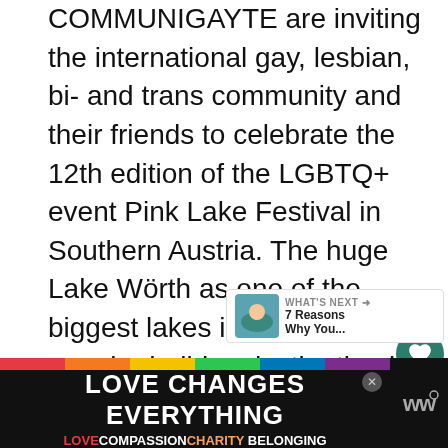COMMUNIGAYTE are inviting the international gay, lesbian, bi- and trans community and their friends to celebrate the 12th edition of the LGBTQ+ event Pink Lake Festival in Southern Austria. The huge Lake Wörth as one of the biggest lakes in Austria is a popular holiday destination in the middle of the south Austrian mountains. During the 4-day LGBTQ+ festival gay couples, friends and rainbow families can explore the cities Klagenfurt and Villach, the Wörthersee, the towns around the Lake Wörth like Velden am Wörthersee, Pörtschach am Wörthersee, Krumpendorf am Wörthersee and the sunny mountains near Karawanks.
[Figure (infographic): Advertisement banner: 'LOVE CHANGES EVERYTHING' with rainbow strip on dark background, subtitle 'LOVE COMPASSION CHARITY BELONGING', with close button and Wealthsimple logo]